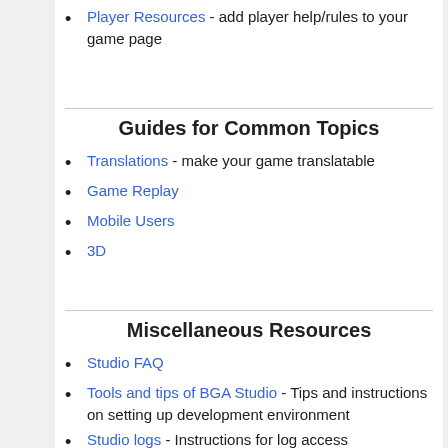Player Resources - add player help/rules to your game page
Guides for Common Topics
Translations - make your game translatable
Game Replay
Mobile Users
3D
Miscellaneous Resources
Studio FAQ
Tools and tips of BGA Studio - Tips and instructions on setting up development environment
Studio logs - Instructions for log access
Practical debugging - Tips focused on debugging